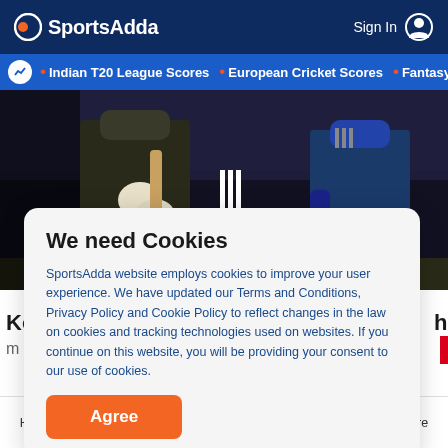SportsAdda  Sign In
• Indian T20 League Scores  • European Cricket Scores  • Fantasy C
[Figure (photo): Two cricket players during a match, dark background]
We need Cookies
SportsAdda website employs cookies to improve your user experience. We have updated our Terms and Conditions, Privacy Policy and Cookie Policy to reflect changes in the law on cookies and tracking technologies used on websites. If you continue on this website, you will be providing your consent to our use of cookies.
Agree
Home  Cricket Scores  Tips & Predictions  Football  More